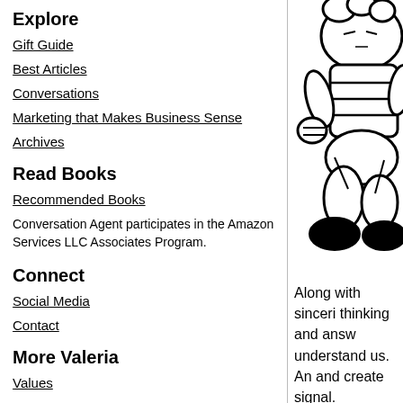Explore
Gift Guide
Best Articles
Conversations
Marketing that Makes Business Sense
Archives
Read Books
Recommended Books
Conversation Agent participates in the Amazon Services LLC Associates Program.
Connect
Social Media
Contact
More Valeria
Values
[Figure (illustration): Black and white cartoon illustration of a character, partially cropped, showing upper body with striped clothing]
Along with sincerity thinking and answ understand us. An and create signal.
The need to be con one domain. Not o to explain things w